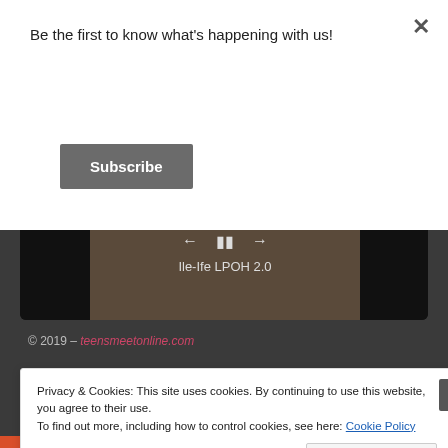Be the first to know what's happening with us!
Subscribe
[Figure (screenshot): Video player showing aerial/overhead footage with playback controls (back, pause, forward arrows) and title 'Ile-Ife LPOH 2.0']
© 2019 – teensmeetonline.com
Privacy & Cookies: This site uses cookies. By continuing to use this website, you agree to their use.
To find out more, including how to control cookies, see here: Cookie Policy
Close and accept